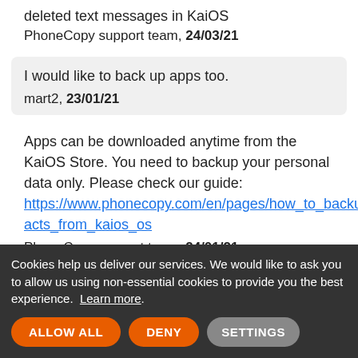deleted text messages in KaiOS
PhoneCopy support team, 24/03/21
I would like to back up apps too.
mart2, 23/01/21
Apps can be downloaded anytime from the KaiOS Store. You need to backup your personal data only. Please check our guide: https://www.phonecopy.com/en/pages/how_to_backup_contacts_from_kaios_os
PhoneCopy support team, 24/01/21
I want restore back to my phone.
future32, 12/10/20
https://www.phonecopy.com/en/...synchronize_contacts_to_kai_os
Cookies help us deliver our services. We would like to ask you to allow us using non-essential cookies to provide you the best experience. Learn more.